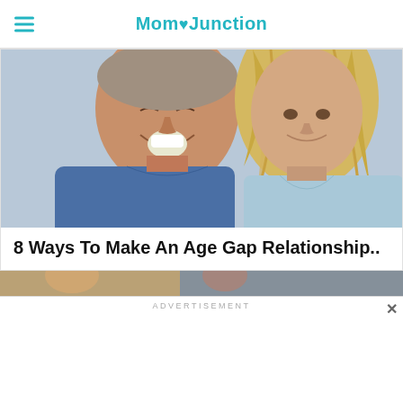MomJunction
[Figure (photo): Close-up photo of a smiling older man in a blue denim shirt and a blonde woman in a light blue top, indicating a couple with an age gap]
8 Ways To Make An Age Gap Relationship..
[Figure (photo): Partial view of a second article's photo at the bottom of the page]
ADVERTISEMENT